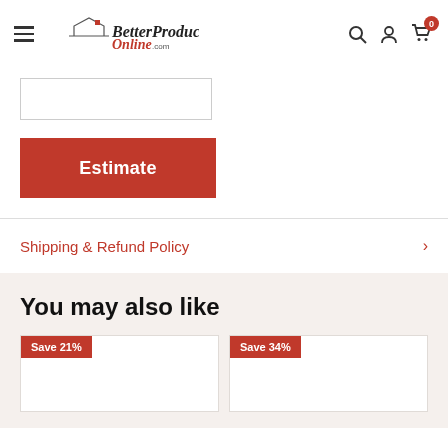BetterProductsOnline.com
[Figure (other): Input box for zip code entry]
Estimate
Shipping & Refund Policy
You may also like
[Figure (other): Product card with Save 21% badge]
[Figure (other): Product card with Save 34% badge]